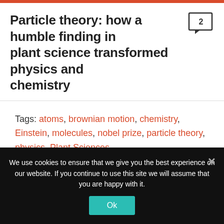Particle theory: how a humble finding in plant science transformed physics and chemistry
Tags: atoms, brownian motion, chemistry, Einstein, molecules, nobel prize, particle theory, physics, Plant Sciences
Share this post:
We use cookies to ensure that we give you the best experience on our website. If you continue to use this site we will assume that you are happy with it.